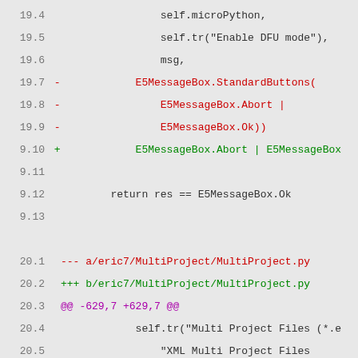Code diff showing changes to eric7/MultiProject/MultiProject.py and related files. Lines 19.4-20.10 of a unified diff showing removal of E5MessageBox.StandardButtons and E5FileDialog.Options, replaced with inline alternatives.